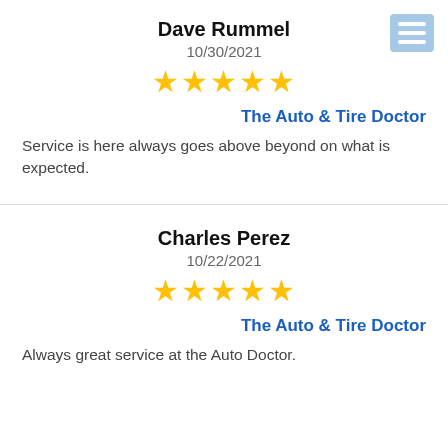Dave Rummel
10/30/2021
[Figure (other): 5 gold star rating]
The Auto & Tire Doctor
Service is here always goes above beyond on what is expected.
Charles Perez
10/22/2021
[Figure (other): 5 gold star rating]
The Auto & Tire Doctor
Always great service at the Auto Doctor.